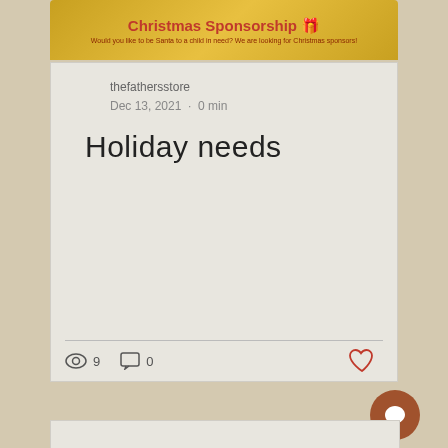[Figure (screenshot): Gold banner with 'Christmas Sponsorship' title in red and small subtitle text in dark red, with a gift icon on the right]
thefathersstore
Dec 13, 2021  ·  0 min
Holiday needs
9  (views)  0  (comments)  (heart/like button)
[Figure (screenshot): Chat bubble button icon (brown circle with speech bubble)]
[Figure (screenshot): Bottom partial card]